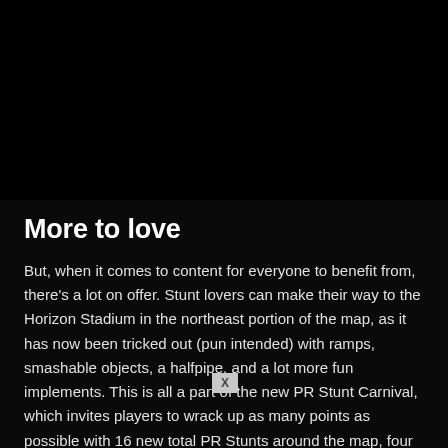[Figure (photo): Aerial/overhead view of an industrial stage or scaffolding structure with dark metallic trusses and rigging, black and white toned photograph]
More to love
But, when it comes to content for everyone to benefit from, there's a lot on offer. Stunt lovers can make their way to the Horizon Stadium in the northeast portion of the map, as it has now been tricked out (pun intended) with ramps, smashable objects, a halfpipe, and a lot more fun implements. This is all a part of the new PR Stunt Carnival, which invites players to wrack up as many points as possible with 16 new total PR Stunts around the map, four for each type. The Speed Zones